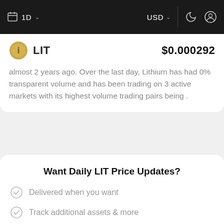1D  USD
LIT  $0.000292
almost 2 years ago. Over the last day, Lithium has had 0% transparent volume and has been trading on 3 active markets with its highest volume trading pairs being .
Want Daily LIT Price Updates?
Delivered when you want
Track additional assets & more
Email